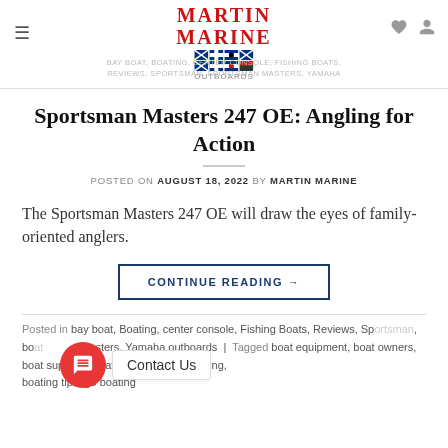MARTIN MARINE — BAY BOAT, BOATING, CENTER CONSOLE, FISHING BOATS, REVIEWS, SPORTSMAN, SPORTSMAN MASTERS, YAMAHA OUTBOARDS
Sportsman Masters 247 OE: Angling for Action
POSTED ON AUGUST 18, 2022 BY MARTIN MARINE
The Sportsman Masters 247 OE will draw the eyes of family-oriented anglers.
CONTINUE READING →
Posted in bay boat, Boating, center console, Fishing Boats, Reviews, Sportsman, Sportsman Masters, Yamaha outboards | Tagged boat equipment, boat owners, boat supplies, boater information, boating, boating tips, go boating